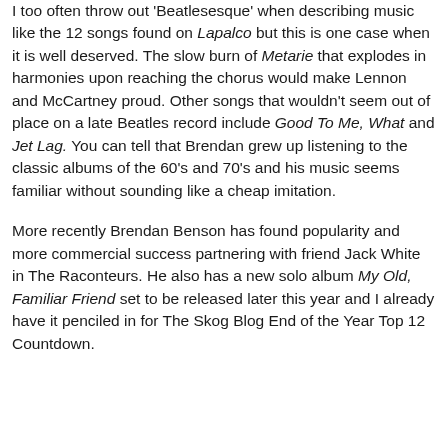I too often throw out 'Beatlesesque' when describing music like the 12 songs found on Lapalco but this is one case when it is well deserved. The slow burn of Metarie that explodes in harmonies upon reaching the chorus would make Lennon and McCartney proud. Other songs that wouldn't seem out of place on a late Beatles record include Good To Me, What and Jet Lag. You can tell that Brendan grew up listening to the classic albums of the 60's and 70's and his music seems familiar without sounding like a cheap imitation.
More recently Brendan Benson has found popularity and more commercial success partnering with friend Jack White in The Raconteurs. He also has a new solo album My Old, Familiar Friend set to be released later this year and I already have it penciled in for The Skog Blog End of the Year Top 12 Countdown.